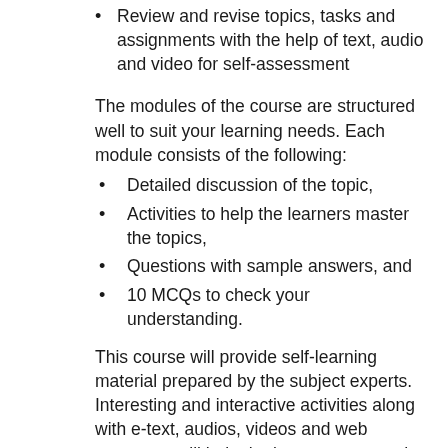Review and revise topics, tasks and assignments with the help of text, audio and video for self-assessment
The modules of the course are structured well to suit your learning needs. Each module consists of the following:
Detailed discussion of the topic,
Activities to help the learners master the topics,
Questions with sample answers, and
10 MCQs to check your understanding.
This course will provide self-learning material prepared by the subject experts. Interesting and interactive activities along with e-text, audios, videos and web resources will help the learners master the content and help